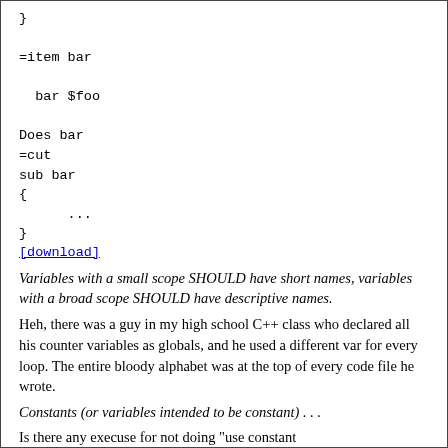}

=item bar

  bar $foo

Does bar
=cut
sub bar
{
      ...
}
[download]
Variables with a small scope SHOULD have short names, variables with a broad scope SHOULD have descriptive names.
Heh, there was a guy in my high school C++ class who declared all his counter variables as globals, and he used a different var for every loop. The entire bloody alphabet was at the top of every code file he wrote.
Constants (or variables intended to be constant) . . .
Is there any execuse for not doing "use constant "?